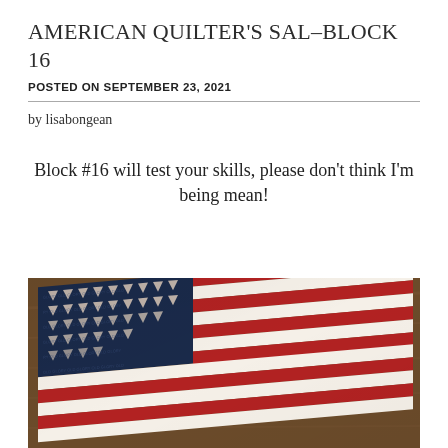AMERICAN QUILTER'S SAL–BLOCK 16
POSTED ON SEPTEMBER 23, 2021
by lisabongean
Block #16 will test your skills, please don't think I'm being mean!
[Figure (photo): A patriotic American flag quilt block displayed on a wooden surface. The quilt features a navy blue canton with small triangles and star patterns, and alternating red and white striped sections.]